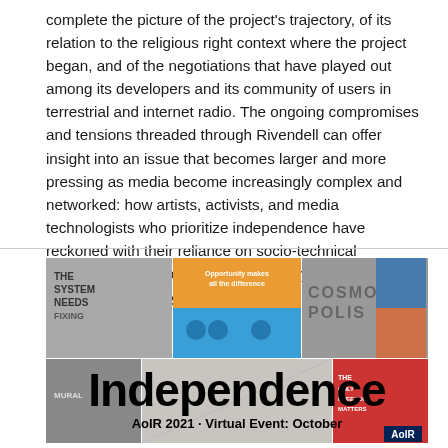complete the picture of the project's trajectory, of its relation to the religious right context where the project began, and of the negotiations that have played out among its developers and its community of users in terrestrial and internet radio. The ongoing compromises and tensions threaded through Rivendell can offer insight into an issue that becomes larger and more pressing as media become increasingly complex and networked: how artists, activists, and media technologists who prioritize independence have reckoned with their reliance on socio-technical infrastructures whose connections may strike them as far less than savory.
[Figure (photo): Collage banner image for AoIR 2021 conference featuring street art, murals, and graffiti images. Large bold text overlay reads 'Independence' and subtext reads 'AoIR 2021 · Virtual Event: October'. AoIR logo in bottom right corner.]